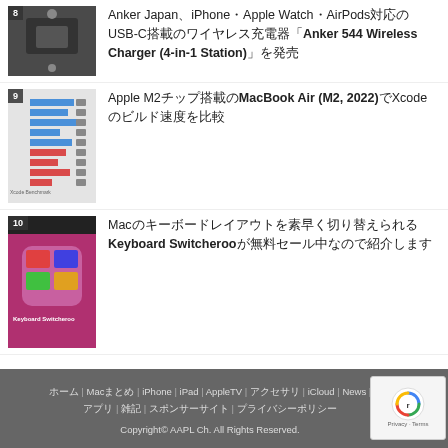8 Anker Japan、iPhone・Apple Watch・AirPods対応のUSB-C搭載のワイヤレス充電器「Anker 544 Wireless Charger (4-in-1 Station)」を発売
9 Apple M2チップ搭載のMacBook Air (M2, 2022)でXcodeビルド速度を比較
10 Macのキーボードレイアウトを素早く切り替えられるKeyboard Switcherooが無料セール中なので紹介します
ホーム | Macまとめ | iPhone | iPad | AppleTV | アクセサリ | iCloud | News | アプリ | 雑記 | スポンサーサイト | プライバシーポリシー
Copyright© AAPL Ch. All Rights Reserved.